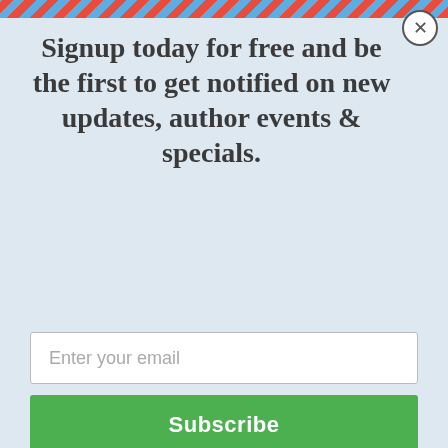[Figure (screenshot): Email signup modal popup with diagonal red and blue striped top border, close button (X), headline text, email input field, and green Subscribe button on a light blue-gray background]
Signup today for free and be the first to get notified on new updates, author events & specials.
Enter your email
Subscribe
* Current Hours: Open Monday - Sunday 12pm ish - 6pm ish.
Store Rules
Face masks are Optional. No food or drinks (without lids)